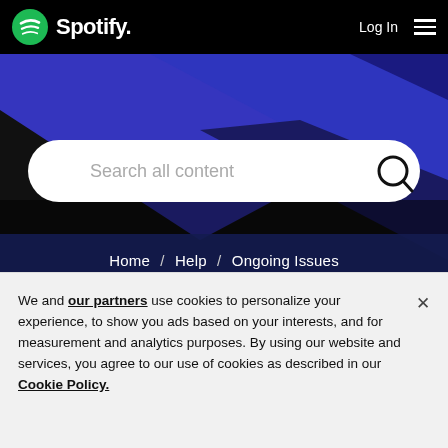[Figure (screenshot): Spotify website screenshot showing header with logo, Log In button, hamburger menu, search bar, breadcrumb navigation, article title, and cookie consent banner]
Spotify  Log In ☰
Search all content
Home / Help / Ongoing Issues
[Pioneer device] Spotify connect gaps, blanks, and freezes
We and our partners use cookies to personalize your experience, to show you ads based on your interests, and for measurement and analytics purposes. By using our website and services, you agree to our use of cookies as described in our Cookie Policy.